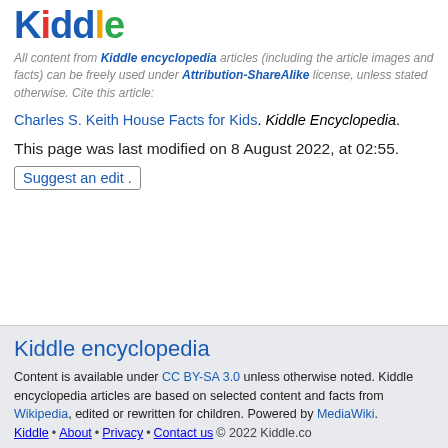[Figure (logo): Kiddle logo with multicolored letters: K(blue), i(red), dd(blue), l(yellow), e(green)]
All content from Kiddle encyclopedia articles (including the article images and facts) can be freely used under Attribution-ShareAlike license, unless stated otherwise. Cite this article:
Charles S. Keith House Facts for Kids. Kiddle Encyclopedia.
This page was last modified on 8 August 2022, at 02:55.
Suggest an edit .
Kiddle encyclopedia
Content is available under CC BY-SA 3.0 unless otherwise noted. Kiddle encyclopedia articles are based on selected content and facts from Wikipedia, edited or rewritten for children. Powered by MediaWiki.
Kiddle • About • Privacy • Contact us   © 2022 Kiddle.co